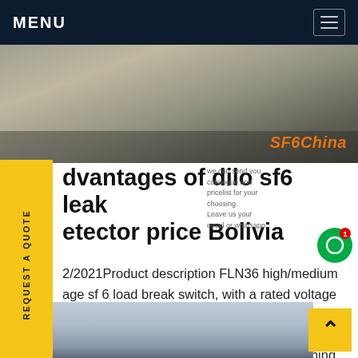MENU
[Figure (photo): Industrial/electrical equipment scene with worker, cables and equipment visible. SF6China watermark in orange on lower right.]
advantages of dilo sf6 leak detector price Bolivia
2/2021Product description FLN36 high/medium age sf 6 load break switch, with a rated voltage 2kv, 24kv or 36kv, can response and protect ver system when there Read More gpu-b-0tdlasequipment _Low-Price Medical Laughing Gas Cylinders (25L/40L)Get price
[Figure (photo): Electrical power transmission towers and infrastructure against a sky background, bottom of page.]